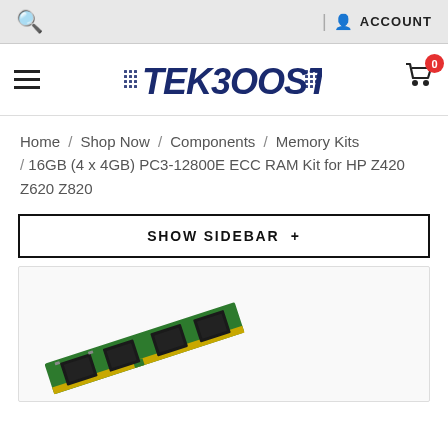Search | ACCOUNT
[Figure (logo): TekBoost brand logo in bold italic dark blue stylized font with circuit-board pattern details]
Home / Shop Now / Components / Memory Kits / 16GB (4 x 4GB) PC3-12800E ECC RAM Kit for HP Z420 Z620 Z820
SHOW SIDEBAR +
[Figure (photo): Green DDR RAM memory stick with black chips, shown at an angle on a white/light background]